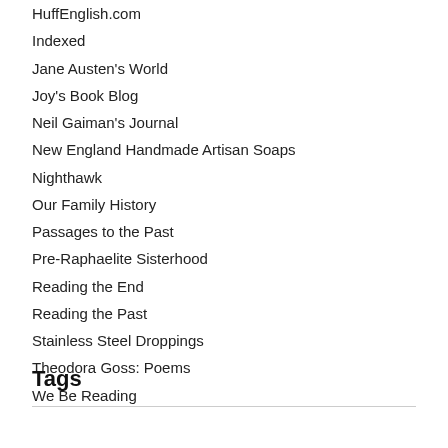HuffEnglish.com
Indexed
Jane Austen's World
Joy's Book Blog
Neil Gaiman's Journal
New England Handmade Artisan Soaps
Nighthawk
Our Family History
Passages to the Past
Pre-Raphaelite Sisterhood
Reading the End
Reading the Past
Stainless Steel Droppings
Theodora Goss: Poems
We Be Reading
Tags